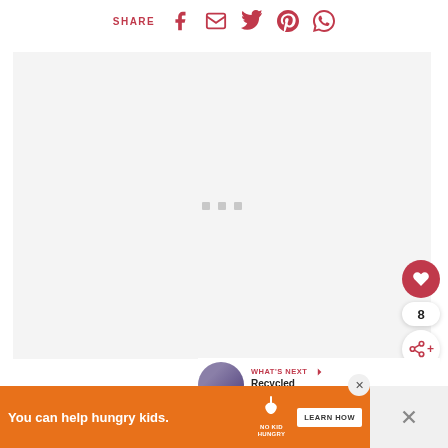SHARE (social share icons: Facebook, Email, Twitter, Pinterest, WhatsApp)
[Figure (photo): Large image placeholder with loading dots (three small gray squares centered)]
[Figure (infographic): Floating action buttons: heart/like button (red circle with white heart, count=8), share button (white circle with share icon). What's Next panel showing thumbnail and 'Recycled Metal Candl...' text]
[Figure (infographic): Advertisement banner: orange background, 'You can help hungry kids.' text, No Kid Hungry logo, LEARN HOW button, close X button]